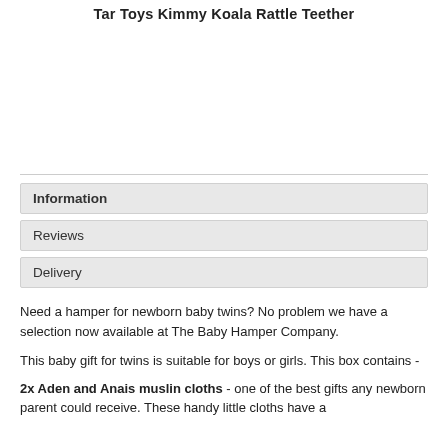Tar Toys Kimmy Koala Rattle Teether
[Figure (photo): Product image area (blank/white space)]
Information
Reviews
Delivery
Need a hamper for newborn baby twins? No problem we have a selection now available at The Baby Hamper Company.
This baby gift for twins is suitable for boys or girls. This box contains -
2x Aden and Anais muslin cloths - one of the best gifts any newborn parent could receive. These handy little cloths have a